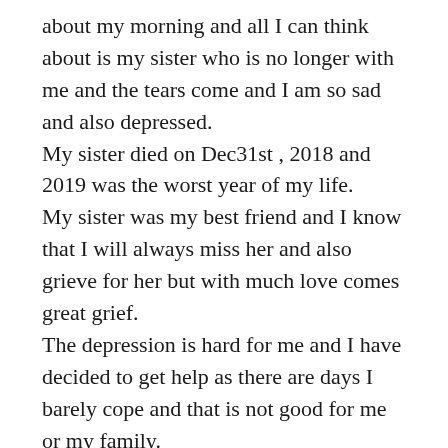about my morning and all I can think about is my sister who is no longer with me and the tears come and I am so sad and also depressed. My sister died on Dec31st , 2018 and 2019 was the worst year of my life. My sister was my best friend and I know that I will always miss her and also grieve for her but with much love comes great grief. The depression is hard for me and I have decided to get help as there are days I barely cope and that is not good for me or my family. I know my sister would be very unhappy to see me in such a bad way and I feel her presence and I know she is telling me to get help. Dec was always a very hard month for me as my dad died on Dec 10th and my mom died on Dec